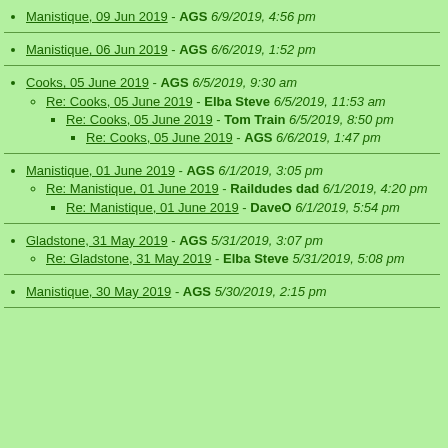Manistique, 09 Jun 2019 - AGS 6/9/2019, 4:56 pm
Manistique, 06 Jun 2019 - AGS 6/6/2019, 1:52 pm
Cooks, 05 June 2019 - AGS 6/5/2019, 9:30 am
Re: Cooks, 05 June 2019 - Elba Steve 6/5/2019, 11:53 am
Re: Cooks, 05 June 2019 - Tom Train 6/5/2019, 8:50 pm
Re: Cooks, 05 June 2019 - AGS 6/6/2019, 1:47 pm
Manistique, 01 June 2019 - AGS 6/1/2019, 3:05 pm
Re: Manistique, 01 June 2019 - Raildudes dad 6/1/2019, 4:20 pm
Re: Manistique, 01 June 2019 - DaveO 6/1/2019, 5:54 pm
Gladstone, 31 May 2019 - AGS 5/31/2019, 3:07 pm
Re: Gladstone, 31 May 2019 - Elba Steve 5/31/2019, 5:08 pm
Manistique, 30 May 2019 - AGS 5/30/2019, 2:15 pm